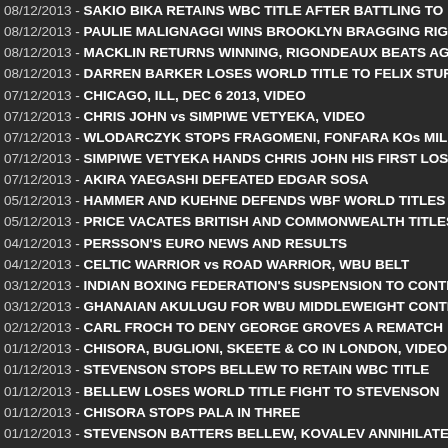08/12/2013 - SAKIO BIKA RETAINS WBC TITLE AFTER BATTLING TO
08/12/2013 - PAULIE MALIGNAGGI WINS BROOKLYN BRAGGING RIG
08/12/2013 - MACKLIN RETURNS WINNING, RIGONDEAUX BEATS AG
08/12/2013 - DARREN BARKER LOSES WORLD TITLE TO FELIX STUR
07/12/2013 - CHICAGO, ILL, DEC 6 2013, VIDEO
07/12/2013 - CHRIS JOHN vs SIMPIWE VETYEKA, VIDEO
07/12/2013 - WLODARCZYK STOPS FRAGOMENI, FONFARA KOs MIL
07/12/2013 - SIMPIWE VETYEKA HANDS CHRIS JOHN HIS FIRST LOS
07/12/2013 - AKIRA YAEGASHI DEFEATED EDGAR SOSA
05/12/2013 - HAMMER AND KUEHNE DEFENDS WBF WORLD TITLES
05/12/2013 - PRICE VACATES BRITISH AND COMMONWEALTH TITLES
04/12/2013 - PERSSON'S EURO NEWS AND RESULTS
04/12/2013 - CELTIC WARRIOR vs ROAD WARRIOR, WBU BELT
03/12/2013 - INDIAN BOXING FEDERATION'S SUSPENSION TO CONTI
03/12/2013 - GHANAIAN AKULUGU FOR WBU MIDDLEWEIGHT CONTE
02/12/2013 - CARL FROCH TO DENY GEORGE GROVES A REMATCH
01/12/2013 - CHISORA, BUGLIONI, SKEETE & CO IN LONDON, VIDEO
01/12/2013 - STEVENSON STOPS BELLEW TO RETAIN WBC TITLE
01/12/2013 - BELLEW LOSES WORLD TITLE FIGHT TO STEVENSON
01/12/2013 - CHISORA STOPS PALA IN THREE
01/12/2013 - STEVENSON BATTERS BELLEW, KOVALEV ANNIHILATE
30/11/2013 - UNBEATEN TEEN STAR MARTIN STOPS AHMED IN ONE
29/11/2013 - McINTYRE-COUZENS: WEIGHTS AND QUOTES
28/11/2013 - WARZONE, NOV 30TH YORK HALL EVENT RESCHEDULE
28/11/2013 - DERECK CHISORA vs ONDREJ PALA, 30TH NOV LONDO
28/11/2013 - HEAVYWEIGHT PRICE TO APPEAR ON BRAEHMER UNDI
28/11/2013 - ONE TO WATCH, THIS SATURDAY IN STRATFORD